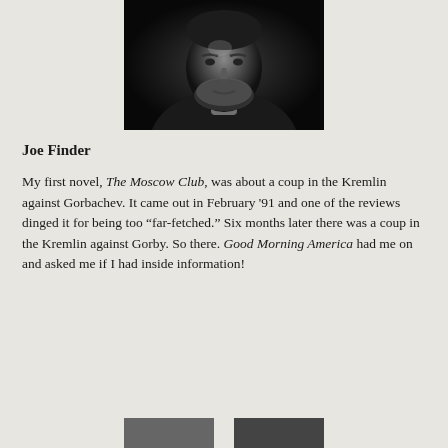[Figure (photo): Black and white portrait photograph of Joe Finder, a man with a beard wearing a dark jacket, photographed against a dark background]
Joe Finder
My first novel, The Moscow Club, was about a coup in the Kremlin against Gorbachev. It came out in February '91 and one of the reviews dinged it for being too "far-fetched." Six months later there was a coup in the Kremlin against Gorby. So there. Good Morning America had me on and asked me if I had inside information!
[Figure (photo): Partial view of another photograph at the bottom of the page, partially cut off]